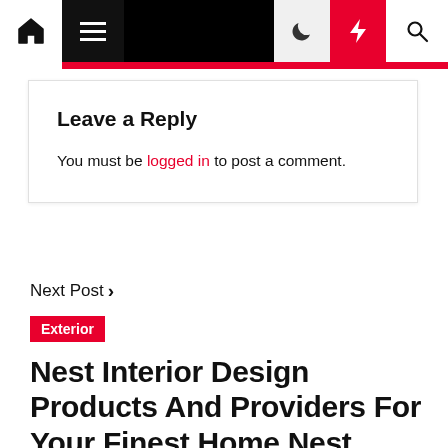Navigation bar with home icon, hamburger menu, moon icon, flash/lightning icon, search icon
Leave a Reply
You must be logged in to post a comment.
Next Post ›
Exterior
Nest Interior Design Products And Providers For Your Finest Home Nest Interior Design